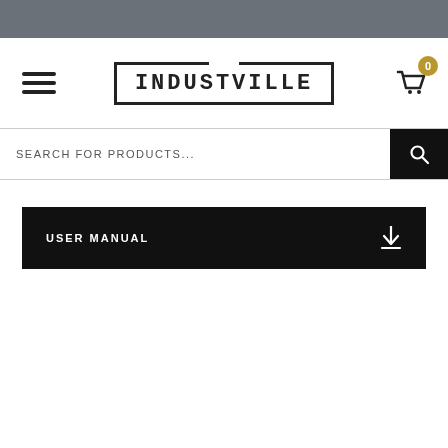[Figure (screenshot): Gray top header bar of a website]
INDUSTVILLE
SEARCH FOR PRODUCTS...
USER MANUAL